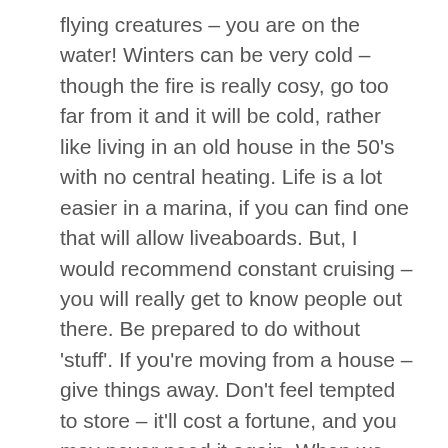flying creatures – you are on the water! Winters can be very cold – though the fire is really cosy, go too far from it and it will be cold, rather like living in an old house in the 50's with no central heating. Life is a lot easier in a marina, if you can find one that will allow liveaboards. But, I would recommend constant cruising – you will really get to know people out there. Be prepared to do without 'stuff'. If you're moving from a house – give things away. Don't feel tempted to store – it'll cost a fortune, and you may never need it again. When we moved on board, our local charity shops did very well out of us – boxes and boxes of books, ornaments etc etc